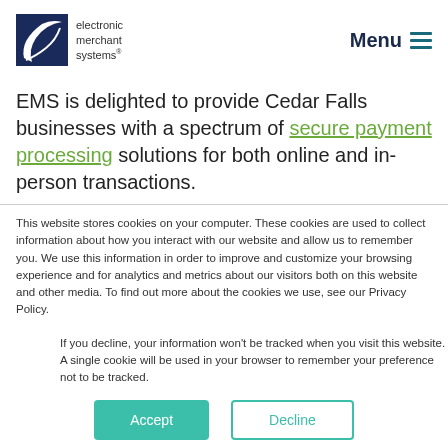electronic merchant systems | Menu
EMS is delighted to provide Cedar Falls businesses with a spectrum of secure payment processing solutions for both online and in-person transactions.
This website stores cookies on your computer. These cookies are used to collect information about how you interact with our website and allow us to remember you. We use this information in order to improve and customize your browsing experience and for analytics and metrics about our visitors both on this website and other media. To find out more about the cookies we use, see our Privacy Policy.
If you decline, your information won't be tracked when you visit this website. A single cookie will be used in your browser to remember your preference not to be tracked.
Accept | Decline